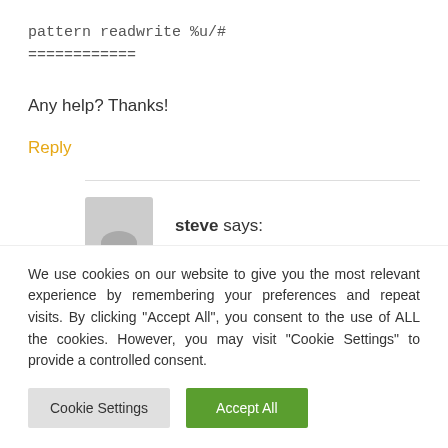pattern readwrite %u/#
============
Any help? Thanks!
Reply
steve says:
We use cookies on our website to give you the most relevant experience by remembering your preferences and repeat visits. By clicking "Accept All", you consent to the use of ALL the cookies. However, you may visit "Cookie Settings" to provide a controlled consent.